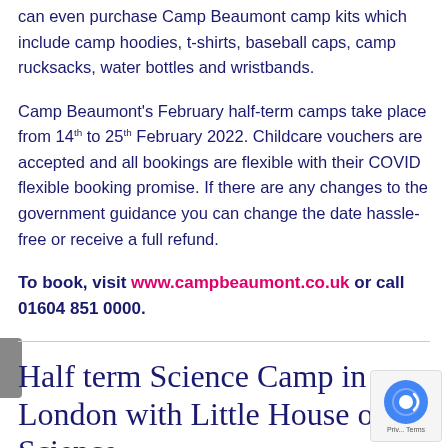can even purchase Camp Beaumont camp kits which include camp hoodies, t-shirts, baseball caps, camp rucksacks, water bottles and wristbands.
Camp Beaumont's February half-term camps take place from 14th to 25th February 2022. Childcare vouchers are accepted and all bookings are flexible with their COVID flexible booking promise. If there are any changes to the government guidance you can change the date hassle-free or receive a full refund.
To book, visit www.campbeaumont.co.uk or call 01604 851 0000.
Half term Science Camp in London with Little House of Science